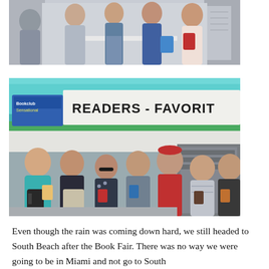[Figure (photo): Group of women posing together at what appears to be an outdoor book fair event, overcast sky visible in background]
[Figure (photo): Group of people posing in front of a 'Readers - Favorites' booth tent at a book fair, holding books]
Even though the rain was coming down hard, we still headed to South Beach after the Book Fair. There was no way we were going to be in Miami and not go to South